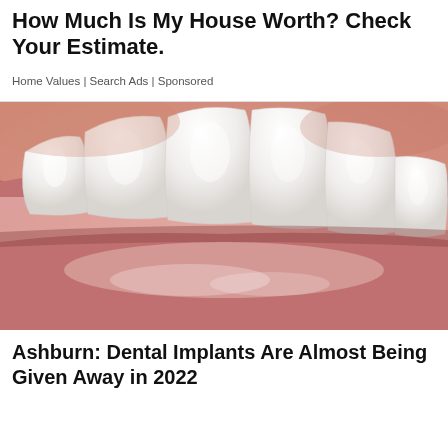How Much Is My House Worth? Check Your Estimate.
Home Values | Search Ads | Sponsored
[Figure (photo): Close-up photo of a person's mouth showing white teeth and lips, advertising dental implants]
Ashburn: Dental Implants Are Almost Being Given Away in 2022